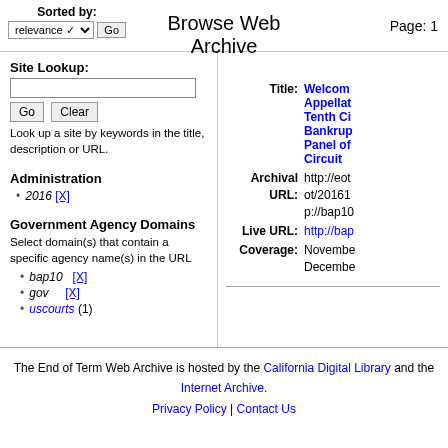Browse Web Archive
Sorted by: relevance Go
Page: 1
Site Lookup:
Look up a site by keywords in the title, description or URL.
Administration
2016 [X]
Government Agency Domains
Select domain(s) that contain a specific agency name(s) in the URL
bap10 [X]
gov [X]
uscourts (1)
Title: Welcome Appellate Tenth Ci Bankrup Panel of Circuit
Archival URL: http://eot ot/20161 p://bap10
Live URL: http://bap
Coverage: November Decembe
The End of Term Web Archive is hosted by the California Digital Library and the Internet Archive. Privacy Policy | Contact Us